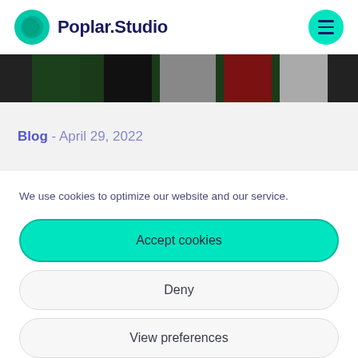Poplar.Studio
[Figure (photo): Partial circular image showing colorful textile or fabric stripes in dark green, black, gray, red, and silver tones.]
Blog - April 29, 2022
We use cookies to optimize our website and our service.
Accept cookies
Deny
View preferences
Privacy Notice